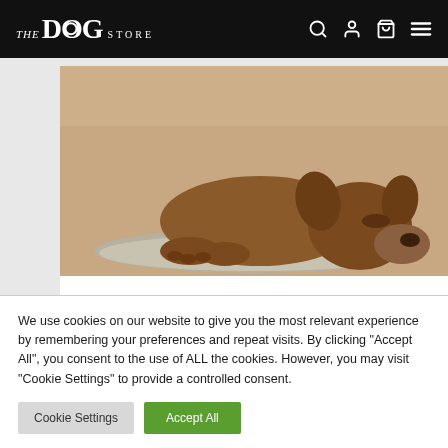THE DOG STORE
[Figure (photo): A sleeping brown puppy lying on a rug]
General   Dangers Annual Vaccinations
Medical and Psychological
We use cookies on our website to give you the most relevant experience by remembering your preferences and repeat visits. By clicking "Accept All", you consent to the use of ALL the cookies. However, you may visit "Cookie Settings" to provide a controlled consent.
Cookie Settings   Accept All